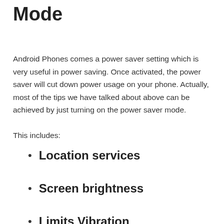Mode
Android Phones comes a power saver setting which is very useful in power saving. Once activated, the power saver will cut down power usage on your phone. Actually, most of the tips we have talked about above can be achieved by just turning on the power saver mode.
This includes:
Location services
Screen brightness
Limits Vibration
Background data